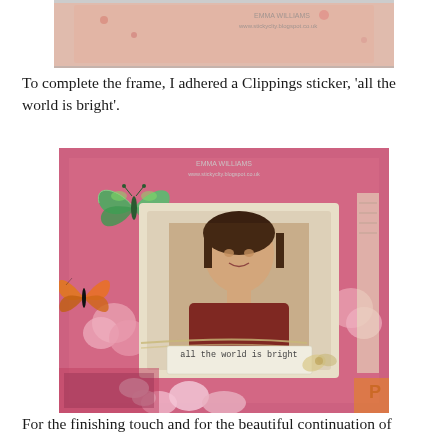[Figure (photo): Partial top image of a crafted scrapbook page, cropped at the top of the document page]
To complete the frame, I adhered a Clippings sticker, 'all the world is bright'.
[Figure (photo): A scrapbook/mixed media art piece featuring a vintage portrait photograph of a woman in a cream-colored frame with 'all the world is bright' sticker text, surrounded by butterfly embellishments, pink flowers, and colorful patterned papers. Watermark reads EMMA WILLIAMS www.stickyclty.blogspot.co.uk]
For the finishing touch and for the beautiful continuation of